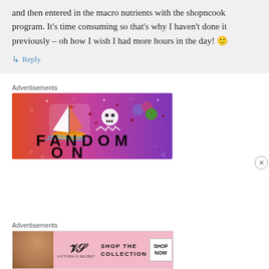and then entered in the macro nutrients with the shopncook program. It's time consuming so that's why I haven't done it previously – oh how I wish I had more hours in the day! 🙂
↳ Reply
Advertisements
[Figure (illustration): Fandom advertisement banner with pink-to-purple gradient background, featuring a sailboat sticker, skull, dice, and large 'FANDOM ON' text in bold black letters with doodle icons scattered around.]
Advertisements
[Figure (illustration): Victoria's Secret advertisement banner with pink background. Shows a woman on the left, Victoria's Secret logo in center, text 'SHOP THE COLLECTION', and a white 'SHOP NOW' button on the right.]